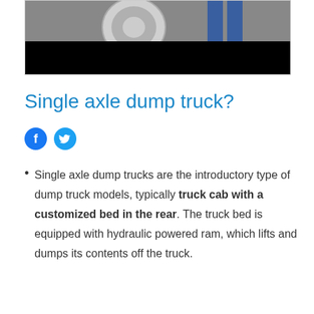[Figure (photo): Partial photo showing a truck wheel and person's legs in the upper portion of the page, with a dark/black band at the bottom of the image]
Single axle dump truck?
[Figure (other): Facebook and Twitter social media share icons (circular blue icons)]
Single axle dump trucks are the introductory type of dump truck models, typically truck cab with a customized bed in the rear. The truck bed is equipped with hydraulic powered ram, which lifts and dumps its contents off the truck.